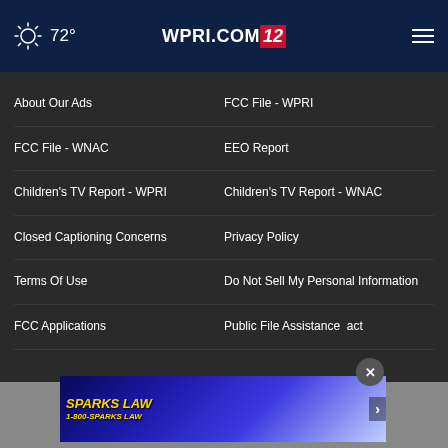72° WPRI.COM 12
About Our Ads
FCC File - WPRI
FCC File - WNAC
EEO Report
Children's TV Report - WPRI
Children's TV Report - WNAC
Closed Captioning Concerns
Privacy Policy
Terms Of Use
Do Not Sell My Personal Information
FCC Applications
Public File Assistance Contact
[Figure (screenshot): Sparks Law advertisement banner with yellow car and text '1-800-SPARKS LAW']